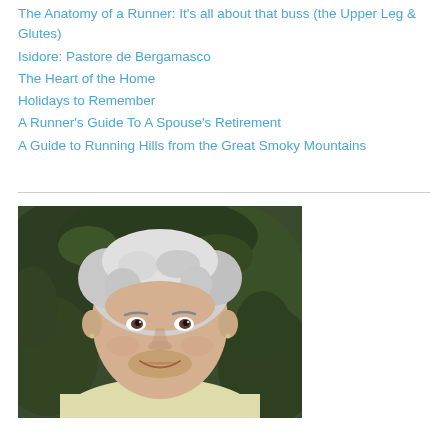The Anatomy of a Runner: It's all about that buss (the Upper Leg & Glutes)
Isidore: Pastore de Bergamasco
The Heart of the Home
Holidays to Remember
A Runner's Guide To A Spouse's Retirement
A Guide to Running Hills from the Great Smoky Mountains
[Figure (photo): Portrait photo of a smiling older woman with short white/grey hair, wearing a light yellow sweater, photographed outdoors with green foliage in the background.]